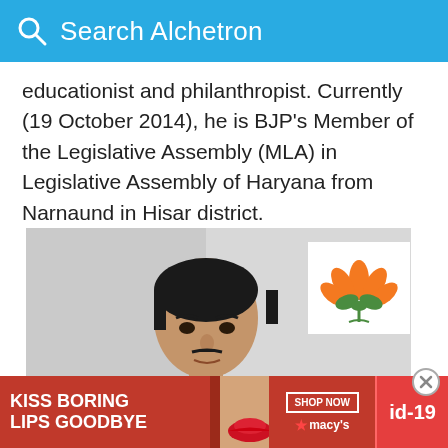Search Alchetron
educationist and philanthropist. Currently (19 October 2014), he is BJP's Member of the Legislative Assembly (MLA) in Legislative Assembly of Haryana from Narnaund in Hisar district.
[Figure (photo): Photo of a man wearing a light yellow kurta, with dark hair, with a BJP lotus party logo overlay in the top right corner of the photo]
[Figure (logo): BJP lotus logo - orange lotus flower with green leaves on white background]
KISS BORING LIPS GOODBYE   SHOP NOW ★macys   id-19